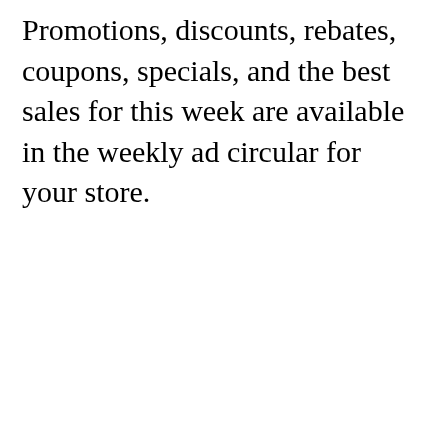Promotions, discounts, rebates, coupons, specials, and the best sales for this week are available in the weekly ad circular for your store.